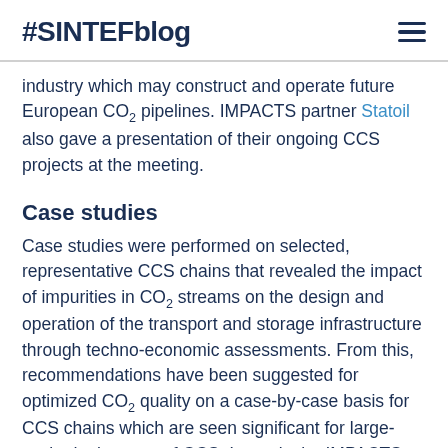#SINTEFblog
industry which may construct and operate future European CO₂ pipelines. IMPACTS partner Statoil also gave a presentation of their ongoing CCS projects at the meeting.
Case studies
Case studies were performed on selected, representative CCS chains that revealed the impact of impurities in CO₂ streams on the design and operation of the transport and storage infrastructure through techno-economic assessments. From this, recommendations have been suggested for optimized CO₂ quality on a case-by-case basis for CCS chains which are seen significant for large-scale deployment of CCS. In particular IMPACTS recommendations have been...